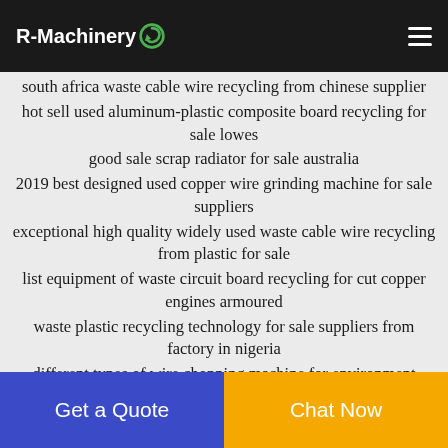R-Machinery
south africa waste cable wire recycling from chinese supplier
hot sell used aluminum-plastic composite board recycling for sale lowes
good sale scrap radiator for sale australia
2019 best designed used copper wire grinding machine for sale suppliers
exceptional high quality widely used waste cable wire recycling from plastic for sale
list equipment of waste circuit board recycling for cut copper engines armoured
waste plastic recycling technology for sale suppliers from factory in nigeria
different types of wire chopping machine for environment
Get a Quote | Chat Now